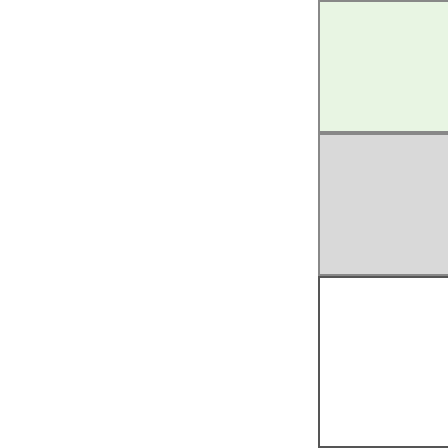under significant pressure.
Scrum Job Market
[Figure (map): Map showing top job locations with red pin markers]
Top Job Locations
Agile and SCRUM methodologies are practiced mostly in larger organizations that have cross-platform teams that need to be on the same page. Adoption rates vary in different industries.
Industry